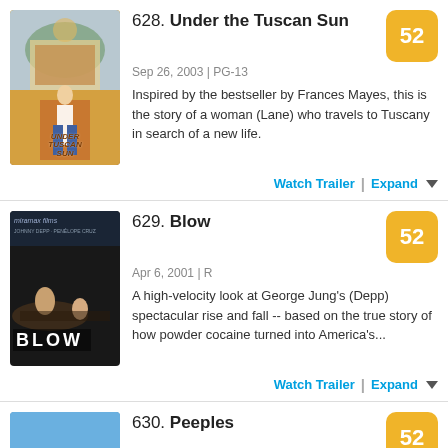628. Under the Tuscan Sun — Sep 26, 2003 | PG-13 — Inspired by the bestseller by Frances Mayes, this is the story of a woman (Lane) who travels to Tuscany in search of a new life. Score: 52
629. Blow — Apr 6, 2001 | R — A high-velocity look at George Jung's (Depp) spectacular rise and fall -- based on the true story of how powder cocaine turned into America's... Score: 52
630. Peeples — May 10, 2013 | PG-13 — Sparks fly when Wade Walker (Craig Robinson) crashes the preppy Peeples' annual reunion in the Hamptons to ask for their precious daughter… Score: 52